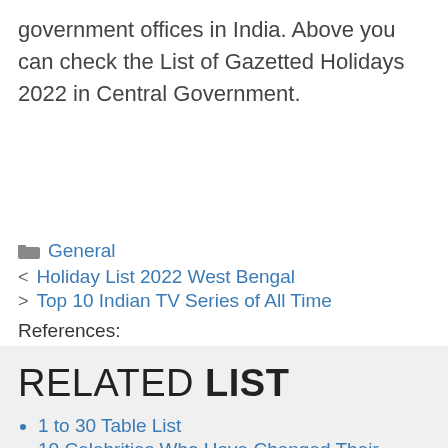government offices in India. Above you can check the List of Gazetted Holidays 2022 in Central Government.
General
Holiday List 2022 West Bengal
Top 10 Indian TV Series of All Time
References:
RELATED LIST
1 to 30 Table List
10 Celebrities Who Have Changed Their